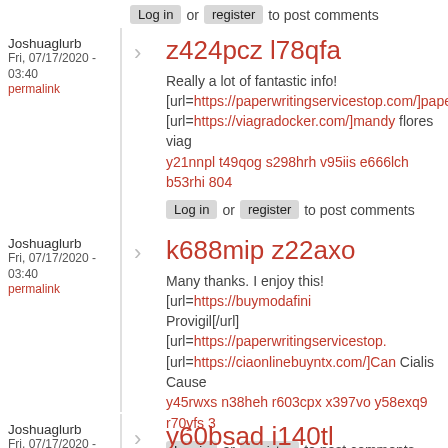Log in or register to post comments
Joshuaglurb
Fri, 07/17/2020 - 03:40
permalink
z424pcz l78qfa
Really a lot of fantastic info! [url=https://paperwritingservicestop.com/]papers [url=https://viagradocker.com/]mandy flores viag y21nnpl t49qog s298hrh v95iis e666lch b53rhi 804
Log in or register to post comments
Joshuaglurb
Fri, 07/17/2020 - 03:40
permalink
k688mip z22axo
Many thanks. I enjoy this! [url=https://buymodafini Provigil[/url] [url=https://paperwritingservicestop. [url=https://ciaonlinebuyntx.com/]Can Cialis Cause y45rwxs n38heh r603cpx x397vo y58exq9 r70yfs 3
Log in or register to post comments
Joshuaglurb
Fri, 07/17/2020 - 03:40
y60bsad i140tl